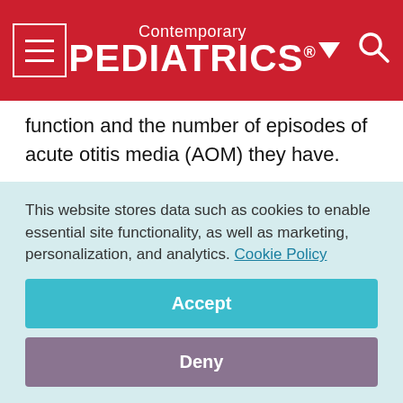Contemporary PEDIATRICS
function and the number of episodes of acute otitis media (AOM) they have.
[Figure (photo): Image placeholder showing a generic photo/gallery icon with a landscape image symbol on a light gray background]
This website stores data such as cookies to enable essential site functionality, as well as marketing, personalization, and analytics. Cookie Policy
Accept
Deny